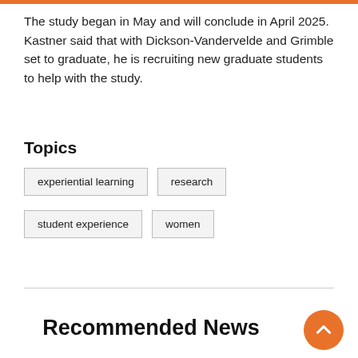The study began in May and will conclude in April 2025. Kastner said that with Dickson-Vandervelde and Grimble set to graduate, he is recruiting new graduate students to help with the study.
Topics
experiential learning
research
student experience
women
Recommended News